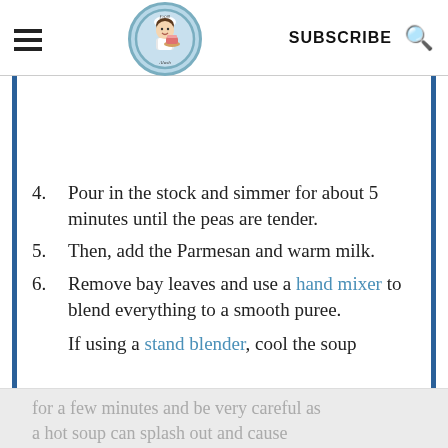From Aloush - SUBSCRIBE
4. Pour in the stock and simmer for about 5 minutes until the peas are tender.
5. Then, add the Parmesan and warm milk.
6. Remove bay leaves and use a hand mixer to blend everything to a smooth puree.
If using a stand blender, cool the soup for a few minutes and be very careful as a hot soup can splash out and cause
for a few minutes and be very careful as a hot soup can splash out and cause